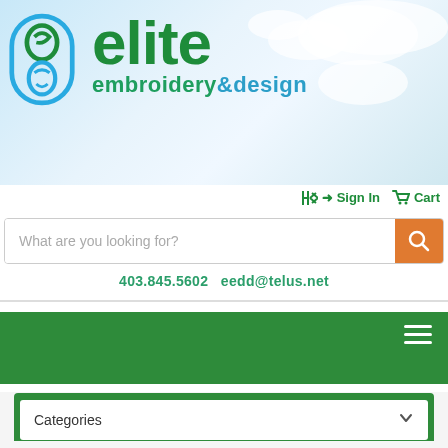[Figure (logo): Elite Embroidery & Design logo with blue circular icon containing stylized needle/thread design and green text 'elite' with teal 'embroidery&design' subtitle, on a sky/cloud background]
Sign In   Cart
What are you looking for?
403.845.5602   eedd@telus.net
Categories